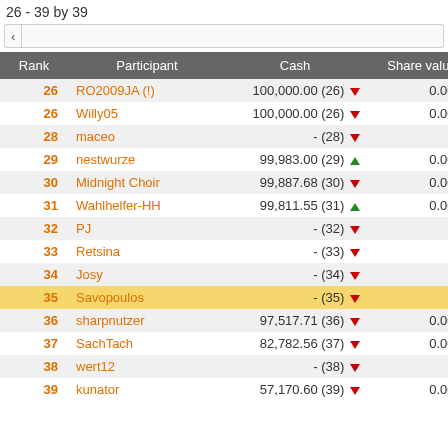26 - 39 by 39
| Rank | Participant | Cash | Share value |
| --- | --- | --- | --- |
| 26 | RO2009JA (!) | 100,000.00 (26) ▼ | 0.00 (1) |
| 26 | Willy05 | 100,000.00 (26) ▼ | 0.00 (1) |
| 28 | maceo | - (28) ▼ | - (1) |
| 29 | nestwurze | 99,983.00 (29) ▲ | 0.00 (1) |
| 30 | Midnight Choir | 99,887.68 (30) ▼ | 0.00 (1) |
| 31 | Wahlhelfer-HH | 99,811.55 (31) ▲ | 0.00 (1) |
| 32 | PJ | - (32) ▼ | - (1) |
| 33 | Retsina | - (33) ▼ | - (1) |
| 34 | Josy | - (34) ▼ | - (1) |
| 35 | Savopoulos | - (35) ▼ | - (1) |
| 36 | sharpnutzer | 97,517.71 (36) ▼ | 0.00 (1) |
| 37 | SachTach | 82,782.56 (37) ▼ | 0.00 (1) |
| 38 | wert12 | - (38) ▼ | - (1) |
| 39 | kunator | 57,170.60 (39) ▼ | 0.00 (1) |